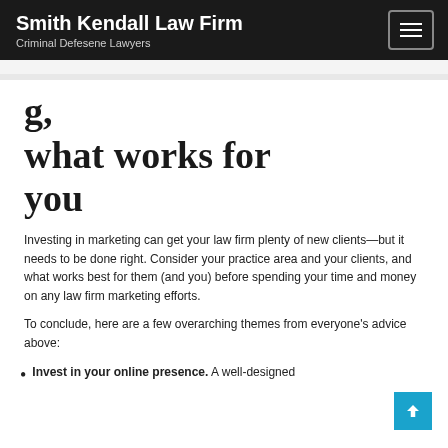Smith Kendall Law Firm — Criminal Defesene Lawyers
g, what works for you
Investing in marketing can get your law firm plenty of new clients—but it needs to be done right. Consider your practice area and your clients, and what works best for them (and you) before spending your time and money on any law firm marketing efforts.
To conclude, here are a few overarching themes from everyone's advice above:
Invest in your online presence. A well-designed